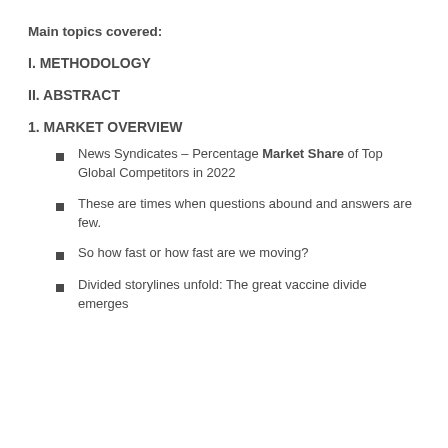Main topics covered:
I. METHODOLOGY
II. ABSTRACT
1. MARKET OVERVIEW
News Syndicates – Percentage Market Share of Top Global Competitors in 2022
These are times when questions abound and answers are few.
So how fast or how fast are we moving?
Divided storylines unfold: The great vaccine divide emerges